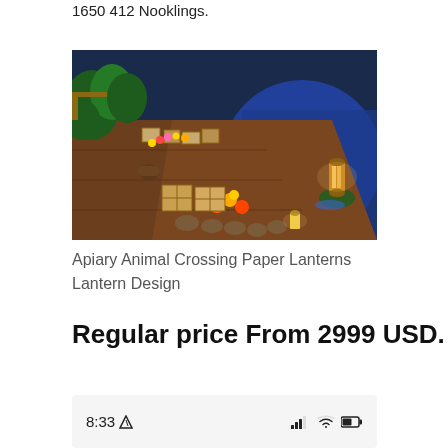1650 412 Nooklings.
[Figure (photo): Animal Crossing game screenshot showing an apiary/outdoor scene at night with wooden boxes, flowers, lanterns, and a river with a glowing lantern on a small island.]
Apiary Animal Crossing Paper Lanterns Lantern Design
Regular price From 2999 USD.
8:33  8:33 signal wifi battery status bar